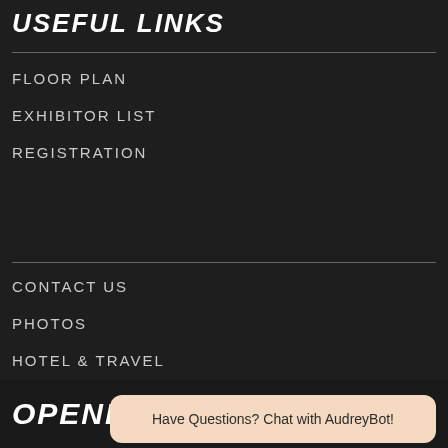USEFUL LINKS
FLOOR PLAN
EXHIBITOR LIST
REGISTRATION
CONTACT US
PHOTOS
HOTEL & TRAVEL
OPENING
Have Questions? Chat with AudreyBot!